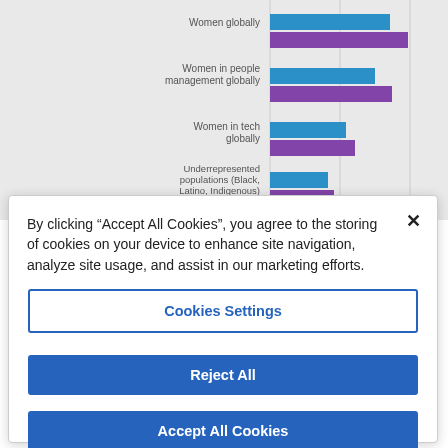[Figure (bar-chart): ]
By clicking "Accept All Cookies", you agree to the storing of cookies on your device to enhance site navigation, analyze site usage, and assist in our marketing efforts.
Cookies Settings
Reject All
Accept All Cookies